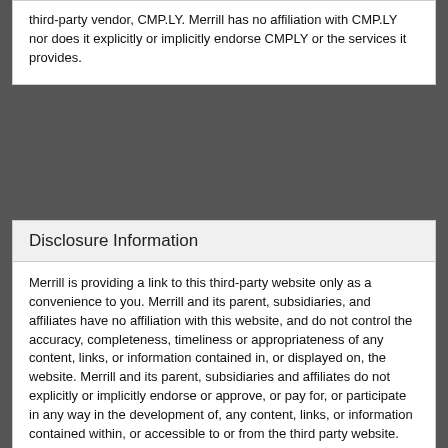third-party vendor, CMP.LY. Merrill has no affiliation with CMP.LY nor does it explicitly or implicitly endorse CMPLY or the services it provides.
Disclosure Information
Merrill is providing a link to this third-party website only as a convenience to you. Merrill and its parent, subsidiaries, and affiliates have no affiliation with this website, and do not control the accuracy, completeness, timeliness or appropriateness of any content, links, or information contained in, or displayed on, the website. Merrill and its parent, subsidiaries and affiliates do not explicitly or implicitly endorse or approve, or pay for, or participate in any way in the development of, any content, links, or information contained within, or accessible to or from the third party website. Merrill and its